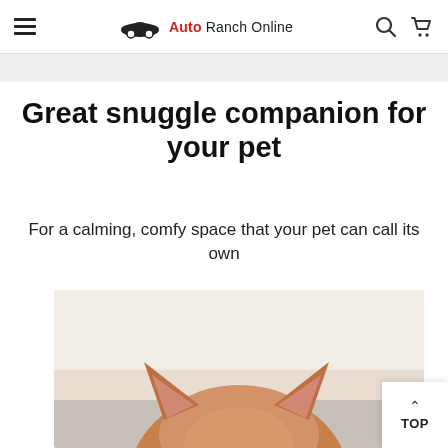Auto Ranch Online
Great snuggle companion for your pet
For a calming, comfy space that your pet can call its own
[Figure (photo): Close-up photo of a cat (top of head with ears visible) resting on a gray surface, with a blurred cream/beige background]
TOP